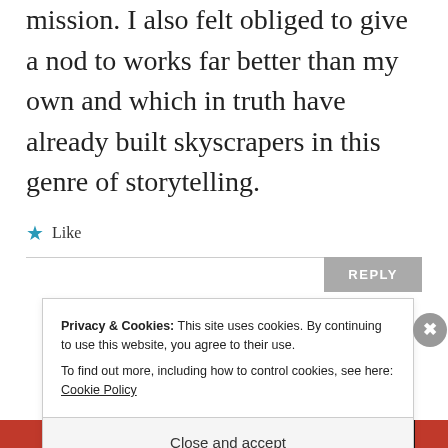mission. I also felt obliged to give a nod to works far better than my own and which in truth have already built skyscrapers in this genre of storytelling.
★ Like
REPLY
Privacy & Cookies: This site uses cookies. By continuing to use this website, you agree to their use. To find out more, including how to control cookies, see here: Cookie Policy
Close and accept